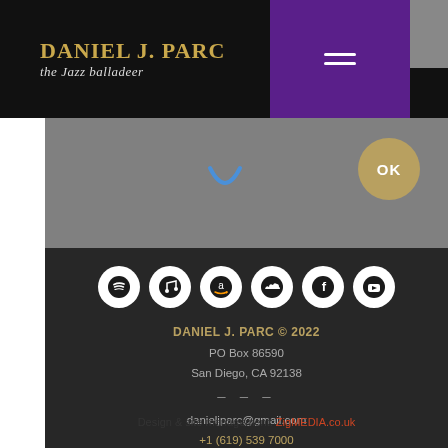DANIEL J. PARC the Jazz balladeer
[Figure (screenshot): Cookie consent bar with a blue smiley/smile icon and an OK button (gold circle)]
[Figure (infographic): Row of 6 social media icons: Spotify, Apple Music, Amazon, SoundCloud, Facebook, YouTube]
DANIEL J. PARC © 2022
PO Box 86590
San Diego, CA 92138
danieljparc@gmail.com
+1 (619) 539 7000
Design & site management: ZigMEDIA.co.uk